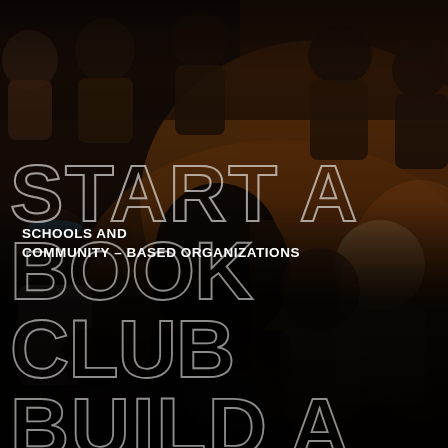[Figure (photo): A group of diverse people sitting in a circle or gathering, viewed from behind and above, in a warm amber-lit room. People are engaged in discussion or reading. The scene suggests a community meeting or book club setting.]
SCHOOLS AND COMMUNITY – BASED ORGANIZATIONS
START A BOOK CLUB BUILD A